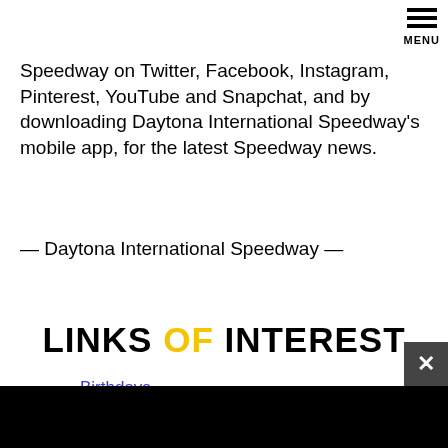MENU
Speedway on Twitter, Facebook, Instagram, Pinterest, YouTube and Snapchat, and by downloading Daytona International Speedway’s mobile app, for the latest Speedway news.
— Daytona International Speedway —
LINKS OF INTEREST
Birthdays
Dale Earnhardt Tribute